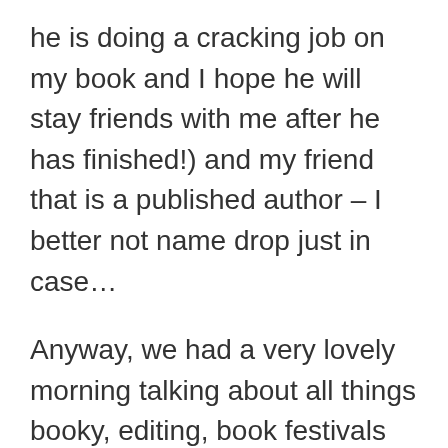he is doing a cracking job on my book and I hope he will stay friends with me after he has finished!) and my friend that is a published author – I better not name drop just in case…
Anyway, we had a very lovely morning talking about all things booky, editing, book festivals as well as general stuff (you are thinking now – get on with the bit about being naked) we all worked at the same